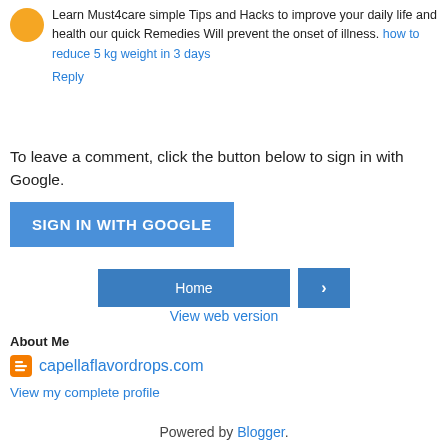Learn Must4care simple Tips and Hacks to improve your daily life and health our quick Remedies Will prevent the onset of illness. how to reduce 5 kg weight in 3 days
Reply
To leave a comment, click the button below to sign in with Google.
SIGN IN WITH GOOGLE
Home
›
View web version
About Me
capellaflavordrops.com
View my complete profile
Powered by Blogger.